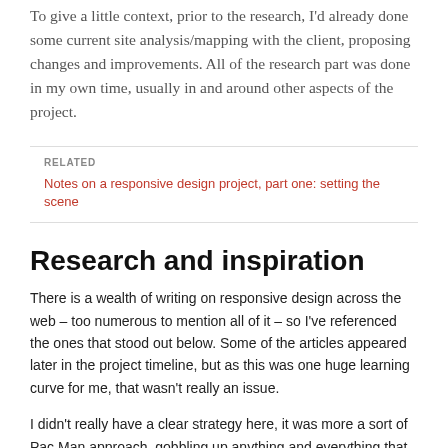To give a little context, prior to the research, I'd already done some current site analysis/mapping with the client, proposing changes and improvements. All of the research part was done in my own time, usually in and around other aspects of the project.
RELATED
Notes on a responsive design project, part one: setting the scene
Research and inspiration
There is a wealth of writing on responsive design across the web – too numerous to mention all of it – so I've referenced the ones that stood out below. Some of the articles appeared later in the project timeline, but as this was one huge learning curve for me, that wasn't really an issue.
I didn't really have a clear strategy here, it was more a sort of Pac Man approach, gobbling up anything and everything that